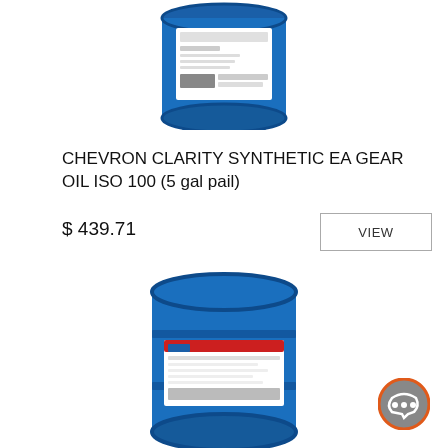[Figure (photo): Chevron Clarity blue 5-gallon pail container, top portion visible]
CHEVRON CLARITY SYNTHETIC EA GEAR OIL ISO 100 (5 gal pail)
$ 439.71
[Figure (other): VIEW button with border]
[Figure (photo): Chevron Clarity blue 55-gallon drum with label]
[Figure (other): Chat button icon, circular with speech bubble]